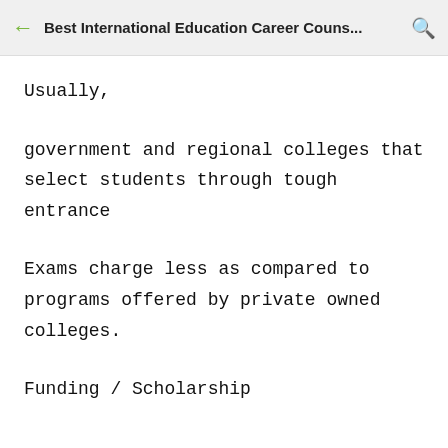Best International Education Career Couns...
Usually,
government and regional colleges that select students through tough entrance
Exams charge less as compared to programs offered by private owned colleges.
Funding / Scholarship